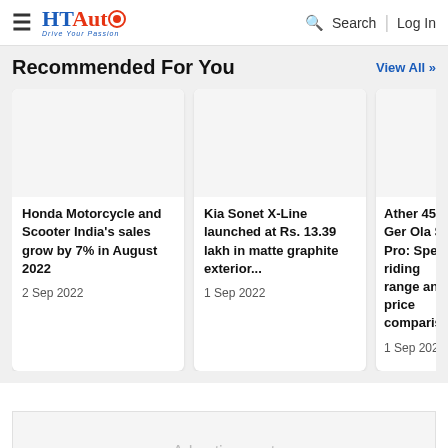HT Auto — Drive Your Passion | Search | Log In
Recommended For You
View All >>
[Figure (photo): Blank card image placeholder 1]
Honda Motorcycle and Scooter India's sales grow by 7% in August 2022
2 Sep 2022
[Figure (photo): Blank card image placeholder 2]
Kia Sonet X-Line launched at Rs. 13.39 lakh in matte graphite exterior...
1 Sep 2022
[Figure (photo): Blank card image placeholder 3 (partial)]
Ather 450X Gen Ola S1 Pro: Spe riding range and price compariso
1 Sep 2022
Advertisement